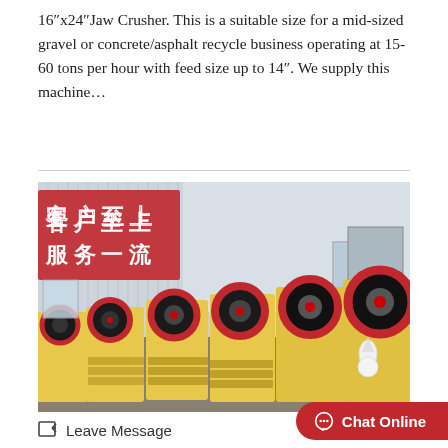16"x24"Jaw Crusher. This is a suitable size for a mid-sized gravel or concrete/asphalt recycle business operating at 15-60 tons per hour with feed size up to 14". We supply this machine…
[Figure (photo): A row of yellow jaw crushers with large red and black flywheels lined up inside an industrial warehouse. Red Chinese characters on the building wall read '客户至上 服务一流' (Customer first, Service excellence). The warehouse has corrugated metal walls and the machines are ready for shipping.]
Leave Message
Chat Online